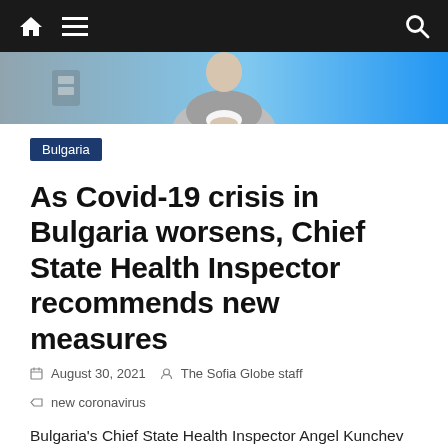Navigation bar with home, menu, and search icons
[Figure (photo): Hero image showing a person in a suit with hands clasped, blue background]
Bulgaria
As Covid-19 crisis in Bulgaria worsens, Chief State Health Inspector recommends new measures
August 30, 2021 · The Sofia Globe staff · new coronavirus
Bulgaria's Chief State Health Inspector Angel Kunchev has sent a report to caretaker Health Minister Stoicho Katsarov proposing the introduction of new restrictive measures in the